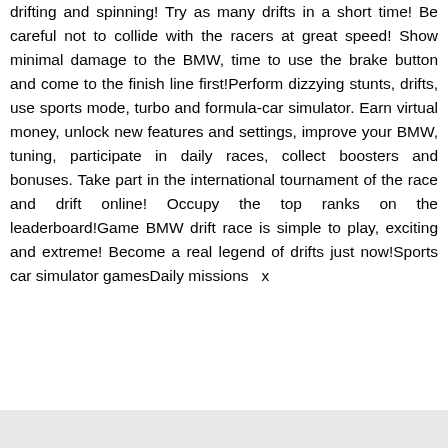drifting and spinning! Try as many drifts in a short time! Be careful not to collide with the racers at great speed! Show minimal damage to the BMW, time to use the brake button and come to the finish line first!Perform dizzying stunts, drifts, use sports mode, turbo and formula-car simulator. Earn virtual money, unlock new features and settings, improve your BMW, tuning, participate in daily races, collect boosters and bonuses. Take part in the international tournament of the race and drift online! Occupy the top ranks on the leaderboard!Game BMW drift race is simple to play, exciting and extreme! Become a real legend of drifts just now!Sports car simulator gamesDaily missions & x